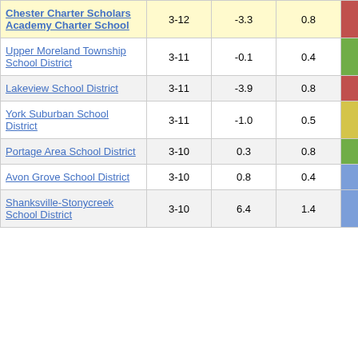| Chester Charter Scholars Academy Charter School | 3-12 | -3.3 | 0.8 | -3.92 |
| Upper Moreland Township School District | 3-11 | -0.1 | 0.4 | -0.12 |
| Lakeview School District | 3-11 | -3.9 | 0.8 | -4.99 |
| York Suburban School District | 3-11 | -1.0 | 0.5 | -2.00 |
| Portage Area School District | 3-10 | 0.3 | 0.8 | 0.38 |
| Avon Grove School District | 3-10 | 0.8 | 0.4 | 2.09 |
| Shanksville-Stonycreek School District | 3-10 | 6.4 | 1.4 | 4.61 |